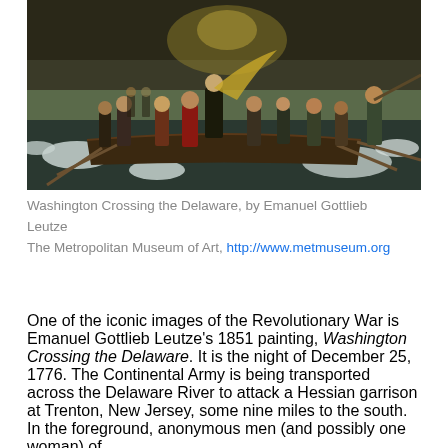[Figure (illustration): Painting of Washington Crossing the Delaware, showing soldiers in boats crossing an icy river at night, with Washington standing in the lead boat.]
Washington Crossing the Delaware, by Emanuel Gottlieb Leutze
The Metropolitan Museum of Art, http://www.metmuseum.org
One of the iconic images of the Revolutionary War is Emanuel Gottlieb Leutze's 1851 painting, Washington Crossing the Delaware.  It is the night of December 25, 1776.  The Continental Army is being transported across the Delaware River to attack a Hessian garrison at Trenton, New Jersey, some nine miles to the south.  In the foreground, anonymous men (and possibly one woman) of